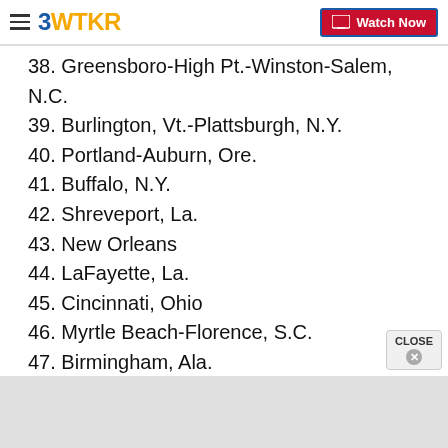3WTKR | Watch Now
38. Greensboro-High Pt.-Winston-Salem, N.C.
39. Burlington, Vt.-Plattsburgh, N.Y.
40. Portland-Auburn, Ore.
41. Buffalo, N.Y.
42. Shreveport, La.
43. New Orleans
44. LaFayette, La.
45. Cincinnati, Ohio
46. Myrtle Beach-Florence, S.C.
47. Birmingham, Ala.
48. Austin, Texas